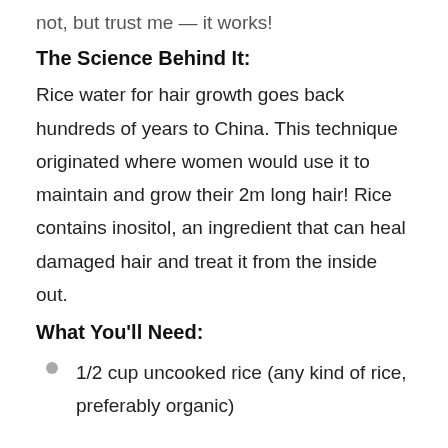not, but trust me — it works!
The Science Behind It:
Rice water for hair growth goes back hundreds of years to China. This technique originated where women would use it to maintain and grow their 2m long hair! Rice contains inositol, an ingredient that can heal damaged hair and treat it from the inside out.
What You'll Need:
1/2 cup uncooked rice (any kind of rice, preferably organic)